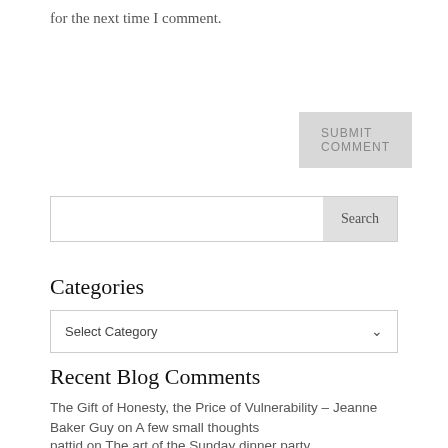for the next time I comment.
SUBMIT COMMENT
Search
Categories
Select Category
Recent Blog Comments
The Gift of Honesty, the Price of Vulnerability – Jeanne Baker Guy on A few small thoughts
pattid on The art of the Sunday dinner party